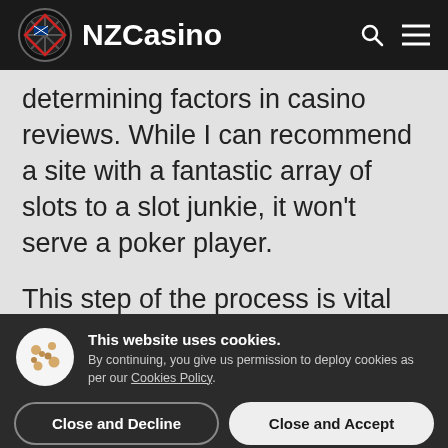NZCasino
determining factors in casino reviews. While I can recommend a site with a fantastic array of slots to a slot junkie, it won't serve a poker player.
This step of the process is vital because it lets me assess the site's character and which audience might enjoy it.
This website uses cookies. By continuing, you give us permission to deploy cookies as per our Cookies Policy.
Close and Decline
Close and Accept